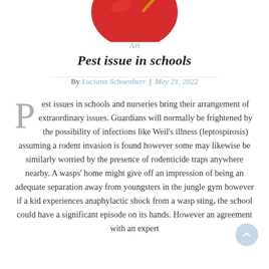[Figure (illustration): Partial illustration of a red leaf or apple shape with an orange stem, cropped at top of page]
Art
Pest issue in schools
By Luciano Schoenherr | May 21, 2022
Pest issues in schools and nurseries bring their arrangement of extraordinary issues. Guardians will normally be frightened by the possibility of infections like Weil’s illness (leptospirosis) assuming a rodent invasion is found however some may likewise be similarly worried by the presence of rodenticide traps anywhere nearby. A wasps’ home might give off an impression of being an adequate separation away from youngsters in the jungle gym however if a kid experiences anaphylactic shock from a wasp sting, the school could have a significant episode on its hands. However an agreement with an expert